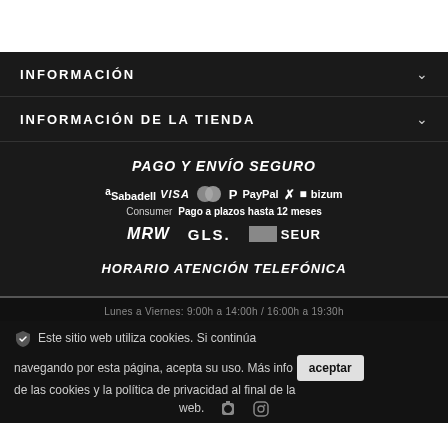INFORMACIÓN
INFORMACIÓN DE LA TIENDA
PAGO Y ENVÍO SEGURO
[Figure (logo): Payment and delivery logos: Sabadell, VISA, Mastercard, PayPal, Klarna (%), bizum, Consumer, MRW, GLS, SEUR. Text: Pago a plazos hasta 12 meses]
HORARIO ATENCIÓN TELEFÓNICA
Lunes a Viernes: 9:00h a 14:00h / 16:00h a 19:30h
Este sitio web utiliza cookies. Si continúa navegando por esta página, acepta su uso. Más info de las cookies y la política de privacidad al final de la web.